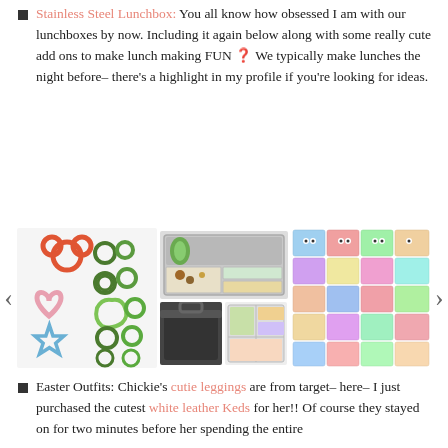Stainless Steel Lunchbox: You all know how obsessed I am with our lunchboxes by now. Including it again below along with some really cute add ons to make lunch making FUN 🎉 We typically make lunches the night before– there's a highlight in my profile if you're looking for ideas.
[Figure (photo): Carousel of three product images: cookie cutters in various shapes (Mickey Mouse, heart, star, dino, broccoli), a stainless steel lunchbox open showing compartments and food items plus a black bag and another lunchbox, and a sheet of monster-themed sticker/reward cards. Navigation arrows on left and right sides.]
Easter Outfits: Chickie's cutie leggings are from target– here– I just purchased the cutest white leather Keds for her!! Of course they stayed on for two minutes before her spending the entire